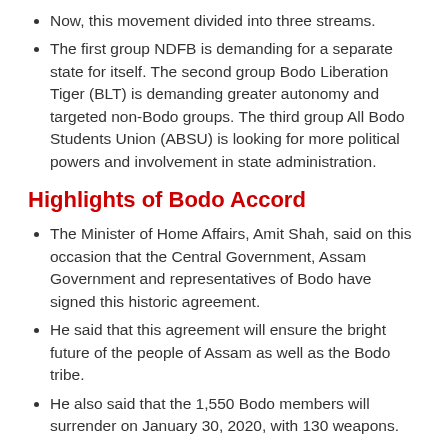Now, this movement divided into three streams.
The first group NDFB is demanding for a separate state for itself. The second group Bodo Liberation Tiger (BLT) is demanding greater autonomy and targeted non-Bodo groups. The third group All Bodo Students Union (ABSU) is looking for more political powers and involvement in state administration.
Highlights of Bodo Accord
The Minister of Home Affairs, Amit Shah, said on this occasion that the Central Government, Assam Government and representatives of Bodo have signed this historic agreement.
He said that this agreement will ensure the bright future of the people of Assam as well as the Bodo tribe.
He also said that the 1,550 Bodo members will surrender on January 30, 2020, with 130 weapons.